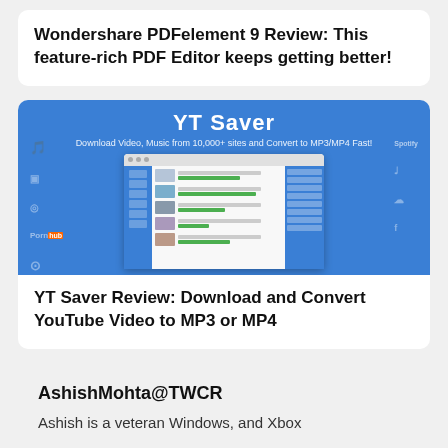Wondershare PDFelement 9 Review: This feature-rich PDF Editor keeps getting better!
[Figure (screenshot): YT Saver application screenshot showing a blue interface with download queue containing multiple video thumbnails and progress bars]
YT Saver Review: Download and Convert YouTube Video to MP3 or MP4
AshishMohta@TWCR
Ashish is a veteran Windows, and Xbox